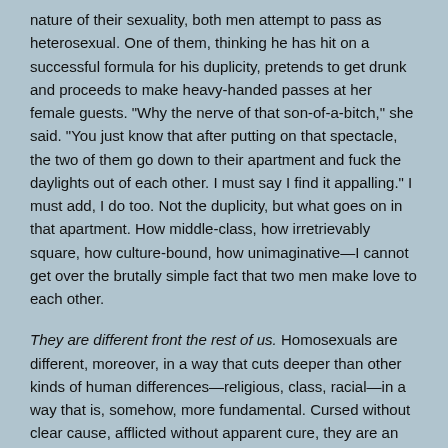nature of their sexuality, both men attempt to pass as heterosexual. One of them, thinking he has hit on a successful formula for his duplicity, pretends to get drunk and proceeds to make heavy-handed passes at her female guests. "Why the nerve of that son-of-a-bitch," she said. "You just know that after putting on that spectacle, the two of them go down to their apartment and fuck the daylights out of each other. I must say I find it appalling." I must add, I do too. Not the duplicity, but what goes on in that apartment. How middle-class, how irretrievably square, how culture-bound, how unimaginative—I cannot get over the brutally simple fact that two men make love to each other.
They are different front the rest of us. Homosexuals are different, moreover, in a way that cuts deeper than other kinds of human differences—religious, class, racial—in a way that is, somehow, more fundamental. Cursed without clear cause, afflicted without apparent cure, they are an affront to our rationality, living evidence of our despair of ever finding a sensible, an explainable, design to the world. One can tolerate homosexuality, a small enough price to be asked to pay for someone else's pain, but accepting it, really accepting it, is another thing altogether. I find I can accept it least of all when I look at my children. There is much my four sons can do in their lives that might cause me anguish, that might outrage me, that might make me